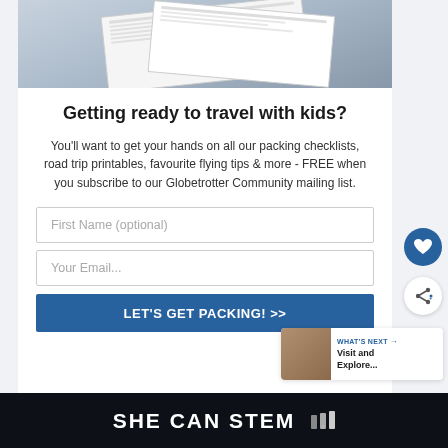[Figure (photo): Stack of printed packing checklists and travel printables on a surface]
Getting ready to travel with kids?
You'll want to get your hands on all our packing checklists, road trip printables, favourite flying tips & more - FREE when you subscribe to our Globetrotter Community mailing list.
First Name (optional)
Your Email...
LET'S GET PACKING! >>
WHAT'S NEXT → Visit and Explore...
SHE CAN STEM